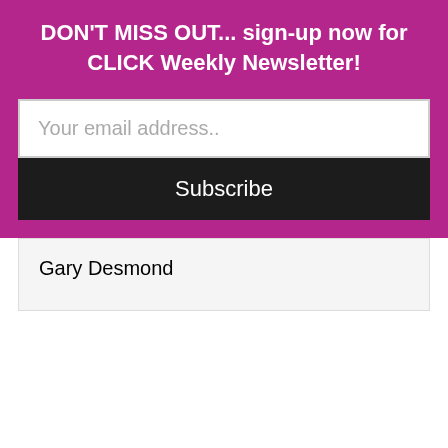DON'T MISS OUT... sign-up now for CLICK Weekly Newsletter!
[Figure (screenshot): Email subscription form with text input field placeholder 'Your email address..' and a black Subscribe button]
Gary Desmond